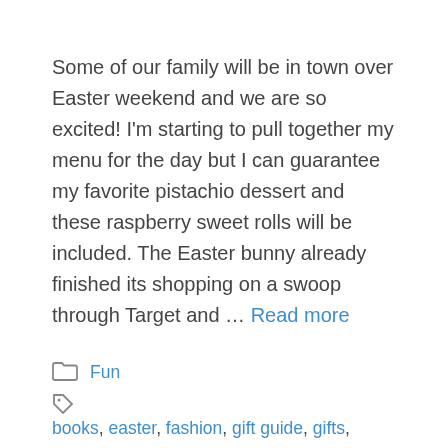Some of our family will be in town over Easter weekend and we are so excited! I'm starting to pull together my menu for the day but I can guarantee my favorite pistachio dessert and these raspberry sweet rolls will be included. The Easter bunny already finished its shopping on a swoop through Target and … Read more
Fun
books, easter, fashion, gift guide, gifts, holiday, movie, preschool, toddler, toys
12 Comments